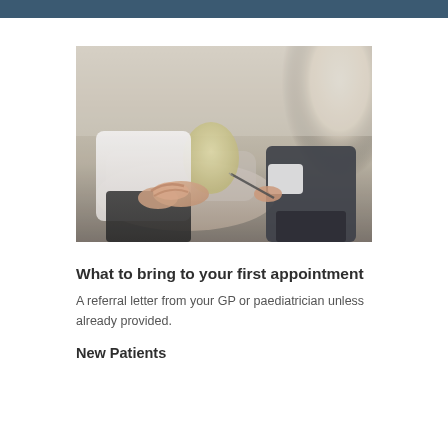[Figure (photo): Two people sitting facing each other in a consultation setting. One person in a white shirt with hands gesturing, the other (a professional) holding a pen/clipboard. A light-colored sofa and cushion visible in background with bright window light.]
What to bring to your first appointment
A referral letter from your GP or paediatrician unless already provided.
New Patients